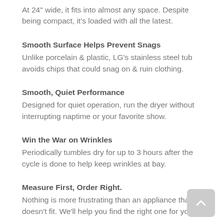At 24" wide, it fits into almost any space. Despite being compact, it's loaded with all the latest.
Smooth Surface Helps Prevent Snags
Unlike porcelain & plastic, LG's stainless steel tub avoids chips that could snag on & ruin clothing.
Smooth, Quiet Performance
Designed for quiet operation, run the dryer without interrupting naptime or your favorite show.
Win the War on Wrinkles
Periodically tumbles dry for up to 3 hours after the cycle is done to help keep wrinkles at bay.
Measure First, Order Right.
Nothing is more frustrating than an appliance that doesn't fit. We'll help you find the right one for your space.